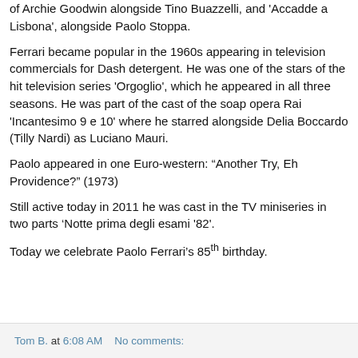of Archie Goodwin alongside Tino Buazzelli, and ‘Accadde a Lisbona’, alongside Paolo Stoppa.
Ferrari became popular in the 1960s appearing in television commercials for Dash detergent. He was one of the stars of the hit television series ‘Orgoglio’, which he appeared in all three seasons. He was part of the cast of the soap opera Rai ‘Incantesimo 9 e 10’ where he starred alongside Delia Boccardo (Tilly Nardi) as Luciano Mauri.
Paolo appeared in one Euro-western: “Another Try, Eh Providence?” (1973)
Still active today in 2011 he was cast in the TV miniseries in two parts ‘Notte prima degli esami ’82’.
Today we celebrate Paolo Ferrari’s 85th birthday.
Tom B. at 6:08 AM   No comments: